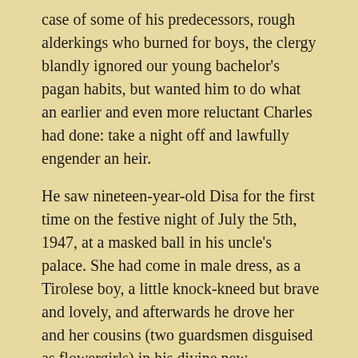case of some of his predecessors, rough alderkings who burned for boys, the clergy blandly ignored our young bachelor's pagan habits, but wanted him to do what an earlier and even more reluctant Charles had done: take a night off and lawfully engender an heir.
He saw nineteen-year-old Disa for the first time on the festive night of July the 5th, 1947, at a masked ball in his uncle's palace. She had come in male dress, as a Tirolese boy, a little knock-kneed but brave and lovely, and afterwards he drove her and her cousins (two guardsmen disguised as flowergirls) in his divine new convertible through the streets to see the tremendous birthday illumination, and the fackeltanz in the park, and the fireworks, and the pale upturned faces. He procrastinated for almost two years but was set upon by inhumanly eloquent advisors, and finally gave in. On the eve of his wedding he prayed most of the night locked up all alone in the cold vastness of the Onhava